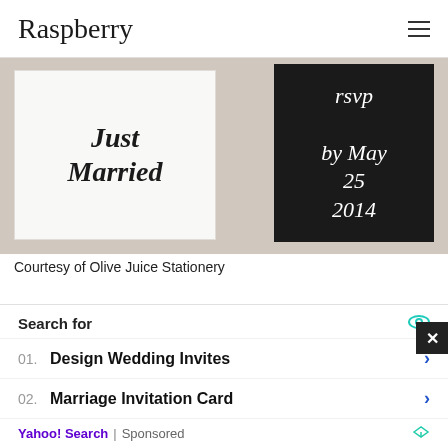Raspberry
[Figure (photo): Wedding stationery photo showing a white 'Just Married' calligraphy card and a dark RSVP card with 'by May 25 2014' text]
Courtesy of Olive Juice Stationery
*Customizable ombré watercolor calligraphy invitation suite, starting at $200 for 100 invitations, Olive Juice Stationery *
[Figure (photo): Partial view of wood-grain stationery or background]
Search for
01. Design Wedding Invites
02. Marriage Invitation Card
Yahoo! Search | Sponsored